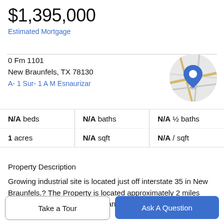$1,395,000
Estimated Mortgage
0 Fm 1101
New Braunfels, TX 78130
A- 1 Sur- 1 A M Esnaurizar
[Figure (map): Circular map thumbnail showing location pin over road map]
| N/A beds | N/A baths | N/A ½ baths |
| 1 acres | N/A sqft | N/A / sqft |
Property Description
Growing industrial site is located just off interstate 35 in New Braunfels.? The Property is located approximately 2 miles from Interstate 35 & Watson Lane on FM 1101.?
Take a Tour
Ask A Question